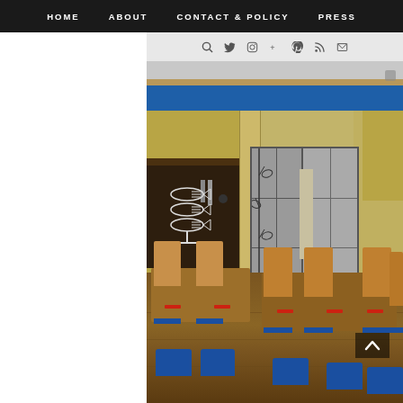HOME   ABOUT   CONTACT & POLICY   PRESS
[Figure (photo): Interior of a Japanese-style restaurant with wooden tables and chairs with blue cushions, shoji screens, yellow walls, blue ceiling beam, and fish logo on the wall.]